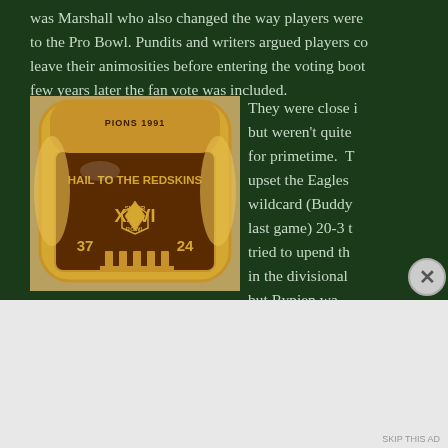was Marshall who also changed the way players were to the Pro Bowl. Pundits and writers argued players co leave their animosities before entering the voting boot few years later the fan vote was included.
[Figure (photo): A Washington Redskins Super Bowl XXVI championship ring with 'HAIL TO THE REDSKINS' engraved and score 37-24 shown, along with 'SUPER BOWL' text. The ring features gold and brown tones with the Redskins logo.]
They were close i but weren't quite for primetime. T upset the Eagles wildcard (Buddy last game) 20-3 t tried to upend th in the divisional but Rypien wa
Advertisements